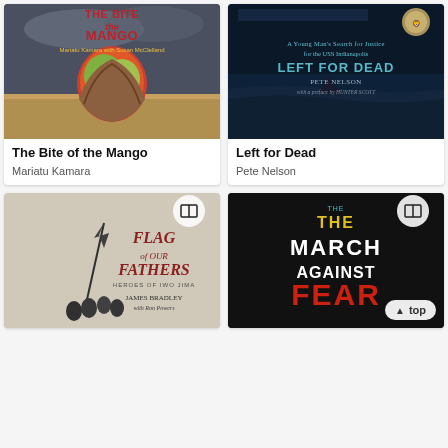[Figure (illustration): Book cover: The Bite of the Mango - hands holding a mango against stormy sky background with red/gold title text and author name Mariatu Kamara with Susan McClelland]
The Bite of the Mango
Mariatu Kamara
[Figure (illustration): Book cover: Left for Dead - dark blue ocean scene with shark fin, subtitle 'A Young Man's Search for Justice for the USS Indianapolis', author Pete Nelson with a preface by Hunter Scott, medal shown]
Left for Dead
Pete Nelson
[Figure (illustration): Book cover: Flag of Our Fathers - Heroes of Iwo Jima by James Bradley with Ron Powers, black and white image of flag raising, open book badge icon]
[Figure (illustration): Book cover: The March Against Fear by Rick Bragg - bold typography with THE in yellow/cyan, MARCH in white, AGAINST in white, FEAR in red on dark background, open book badge icon]